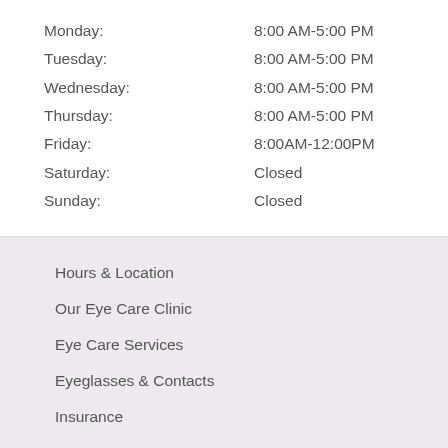Monday: 8:00 AM-5:00 PM
Tuesday: 8:00 AM-5:00 PM
Wednesday: 8:00 AM-5:00 PM
Thursday: 8:00 AM-5:00 PM
Friday: 8:00AM-12:00PM
Saturday: Closed
Sunday: Closed
Hours & Location
Our Eye Care Clinic
Eye Care Services
Eyeglasses & Contacts
Insurance